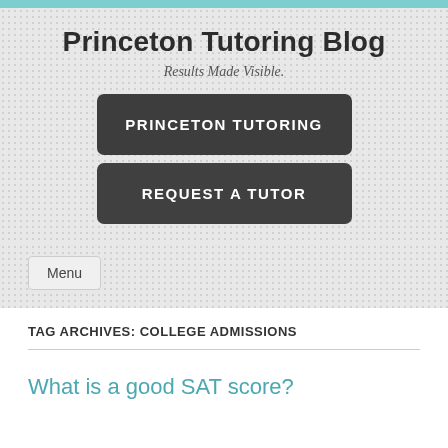Princeton Tutoring Blog
Results Made Visible.
PRINCETON TUTORING
REQUEST A TUTOR
Menu
TAG ARCHIVES: COLLEGE ADMISSIONS
What is a good SAT score?